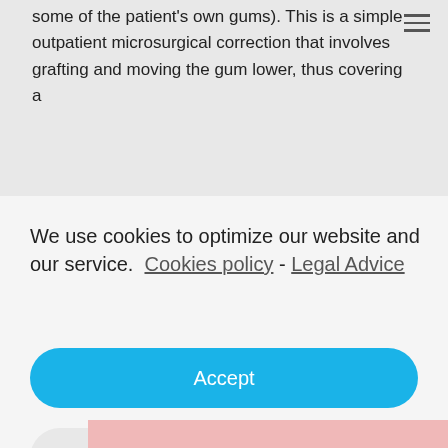some of the patient's own gums). This is a simple outpatient microsurgical correction that involves grafting and moving the gum lower, thus covering a
We use cookies to optimize our website and our service.  Cookies policy - Legal Advice
Accept
Discard
Preferences